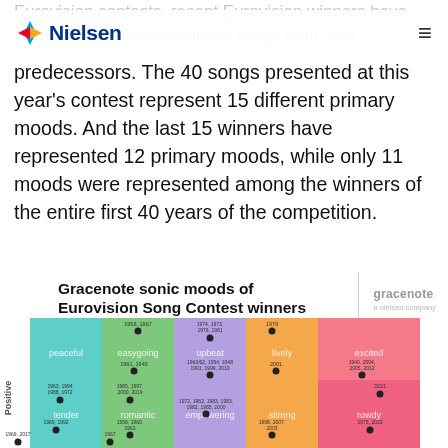Nielsen
Eurovision contests, recent Eurovision winners have displayed far more emotional range than their predecessors. The 40 songs presented at this year's contest represent 15 different primary moods. And the last 15 winners have represented 12 primary moods, while only 11 moods were represented among the winners of the entire first 40 years of the competition.
[Figure (infographic): Gracenote sonic moods of Eurovision Song Contest winners - a grid chart showing different mood categories (peaceful, easygoing, excited, lively, excited, tender, romantic, empowering, stirring, rowdy) plotted by Positive axis with years of Eurovision winners plotted as dots in each mood cell. The grid uses colored cells in teal, green, lavender, orange, and pink.]